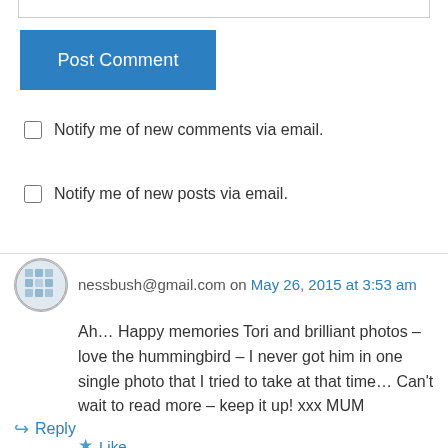Post Comment
Notify me of new comments via email.
Notify me of new posts via email.
nessbush@gmail.com on May 26, 2015 at 3:53 am
Ah… Happy memories Tori and brilliant photos – love the hummingbird – I never got him in one single photo that I tried to take at that time… Can't wait to read more – keep it up! xxx MUM
Like
Reply